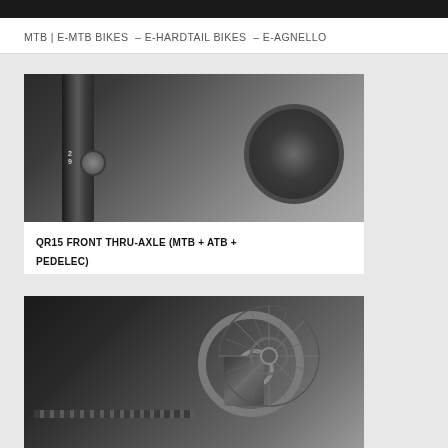MTB | E-MTB BIKES – E-HARDTAIL BIKES – E-AGNELLO
[Figure (photo): Close-up black and white photo of a QR15 front thru-axle on a mountain bike fork, showing the axle, fork leg, and wheel hub with spokes. A '29' label is visible on the fork.]
QR15 FRONT THRU-AXLE (MTB + ATB + PEDELEC)
[Figure (photo): Close-up black and white photo of a bicycle rear axle area showing a disc brake rotor, brake caliper, cassette, and chain.]